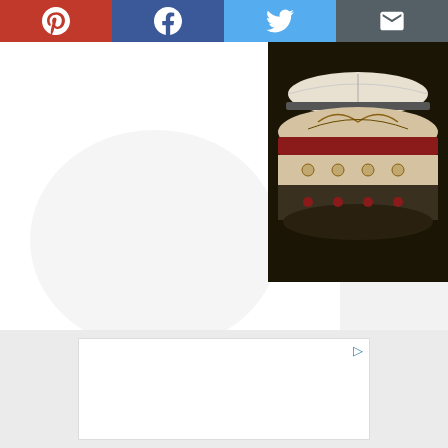[Figure (screenshot): Social share bar with Pinterest (red), Facebook (blue), Twitter (light blue), and Email (dark grey) buttons]
PHOTOS
[Figure (photo): A decorative patterned Ottoman/pouf with an open book resting on top, photographed against a dark background]
[Figure (other): Navigation buttons: Previous (grey text) and Next (teal/cyan text)]
[Figure (other): Advertisement placeholder box with a play/ad icon in the top right corner]